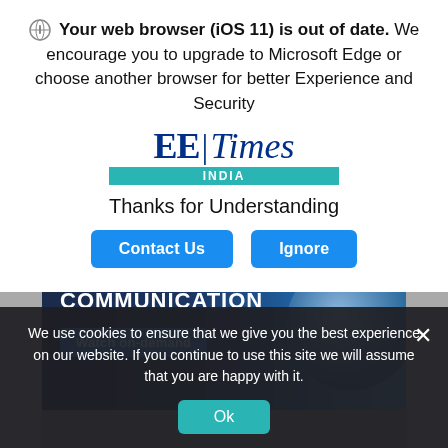Your web browser (iOS 11) is out of date. We encourage you to upgrade to Microsoft Edge or choose another browser for better Experience and Security
[Figure (logo): EE Times India logo — blue serif 'EE|Times' wordmark with teal 'INDIA' bar below]
Thanks for Understanding
[Figure (screenshot): Communication satellite/earth banner image with 'COMMUNICATION' heading and 'Watch on-demand' blue button]
We use cookies to ensure that we give you the best experience on our website. If you continue to use this site we will assume that you are happy with it.